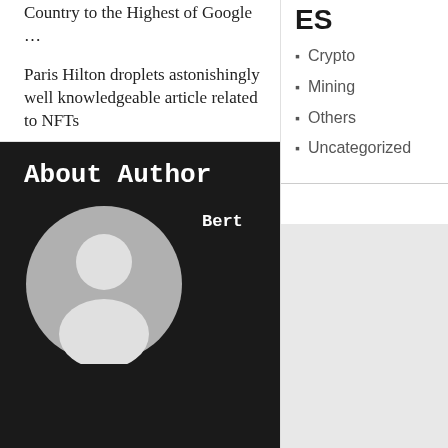Country to the Highest of Google …
Paris Hilton droplets astonishingly well knowledgeable article related to NFTs
ES
Crypto
Mining
Others
Uncategorized
About Author
[Figure (illustration): Default user avatar: gray circle with white silhouette of a person (head and shoulders)]
Bert